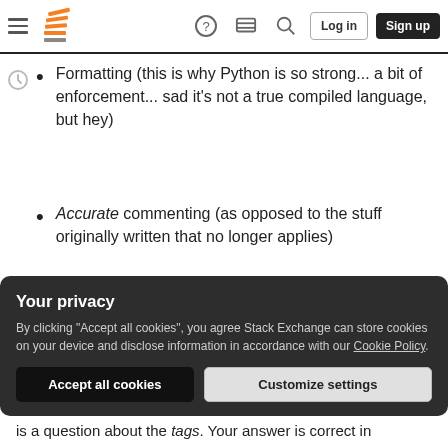Stack Exchange navigation bar with hamburger, logo, help, chat, search icons, Log in and Sign up buttons
Formatting (this is why Python is so strong... a bit of enforcement... sad it's not a true compiled language, but hey)
Accurate commenting (as opposed to the stuff originally written that no longer applies)
Accurate and extensive documentation backing everything up
...most programmers fail at all four. In a minor defense, most employers push them to do things quickly, rather than well.
Your privacy
By clicking "Accept all cookies", you agree Stack Exchange can store cookies on your device and disclose information in accordance with our Cookie Policy.
Accept all cookies   Customize settings
is a question about the tags. Your answer is correct in